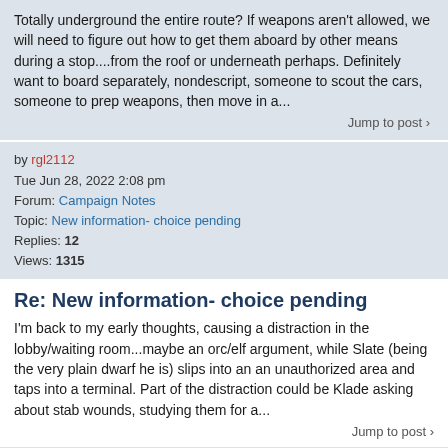Totally underground the entire route? If weapons aren't allowed, we will need to figure out how to get them aboard by other means during a stop....from the roof or underneath perhaps. Definitely want to board separately, nondescript, someone to scout the cars, someone to prep weapons, then move in a...
Jump to post >
by rgl2112
Tue Jun 28, 2022 2:08 pm
Forum: Campaign Notes
Topic: New information- choice pending
Replies: 12
Views: 1315
Re: New information- choice pending
I'm back to my early thoughts, causing a distraction in the lobby/waiting room...maybe an orc/elf argument, while Slate (being the very plain dwarf he is) slips into an an unauthorized area and taps into a terminal. Part of the distraction could be Klade asking about stab wounds, studying them for a...
Jump to post >
by rgl2112
Fri Jun 24, 2022 1:19 pm
Forum: Campaign Notes
Topic: New information- choice pending
Replies: 12
Views: 1315
Re: New information- choice pending